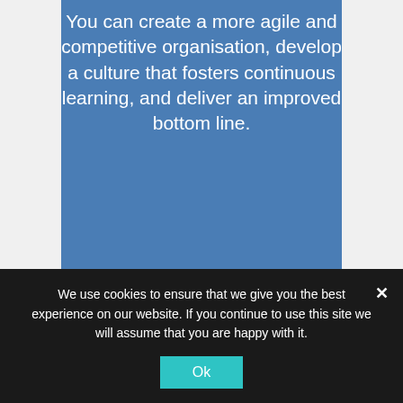You can create a more agile and competitive organisation, develop a culture that fosters continuous learning, and deliver an improved bottom line.
Speak with a Tech advisor today to discuss your technology landscape & future needs:
[Figure (screenshot): Scroll-to-top button with upward arrow on grey background]
We use cookies to ensure that we give you the best experience on our website. If you continue to use this site we will assume that you are happy with it.